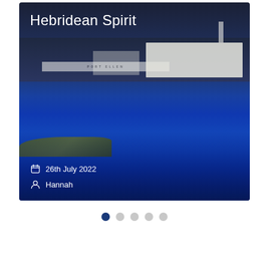[Figure (photo): Photograph of Port Ellen distillery buildings on the Isle of Islay, Scotland, viewed across the water. Dark blue sky and reflective blue water dominate the image. White industrial buildings and a chimney stack are visible in the background. Rocky islets are visible in the foreground water.]
Hebridean Spirit
26th July 2022
Hannah